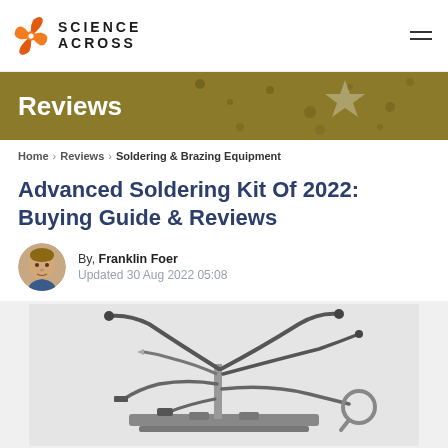[Figure (logo): Science Across website logo with orange swirl icon and bold uppercase text SCIENCE ACROSS]
[Figure (illustration): Reviews banner with dark gold/olive background, dots pattern, star shape, and white bold text saying Reviews]
Home > Reviews > Soldering & Brazing Equipment
Advanced Soldering Kit Of 2022: Buying Guide & Reviews
By, Franklin Foer
Updated 30 Aug 2022 05:08
[Figure (photo): Photo of an advanced soldering kit with multiple flexible arms, magnifying glass, and various soldering tools on a base]